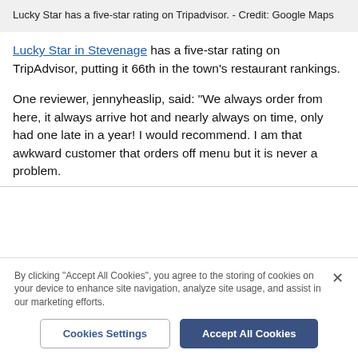Lucky Star has a five-star rating on Tripadvisor. - Credit: Google Maps
Lucky Star in Stevenage has a five-star rating on TripAdvisor, putting it 66th in the town's restaurant rankings.
One reviewer, jennyheaslip, said: "We always order from here, it always arrive hot and nearly always on time, only had one late in a year! I would recommend. I am that awkward customer that orders off menu but it is never a problem.
By clicking "Accept All Cookies", you agree to the storing of cookies on your device to enhance site navigation, analyze site usage, and assist in our marketing efforts.